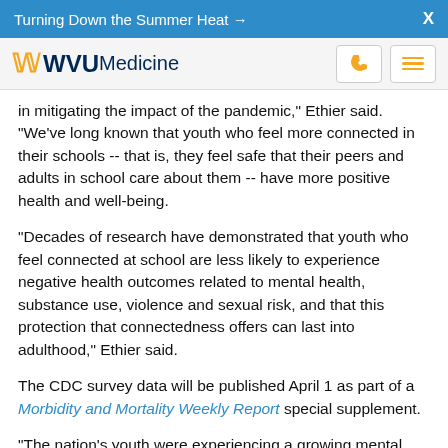Turning Down the Summer Heat →   X
[Figure (logo): WVU Medicine logo with flying WV and navigation icons]
in mitigating the impact of the pandemic," Ethier said. "We've long known that youth who feel more connected in their schools -- that is, they feel safe that their peers and adults in school care about them -- have more positive health and well-being.
"Decades of research have demonstrated that youth who feel connected at school are less likely to experience negative health outcomes related to mental health, substance use, violence and sexual risk, and that this protection that connectedness offers can last into adulthood," Ethier said.
The CDC survey data will be published April 1 as part of a Morbidity and Mortality Weekly Report special supplement.
"The nation's youth were experiencing a growing mental health crisis before COVID 19, and it's worsened during the pandemic," said Dr. Marcina director of the CDC's...